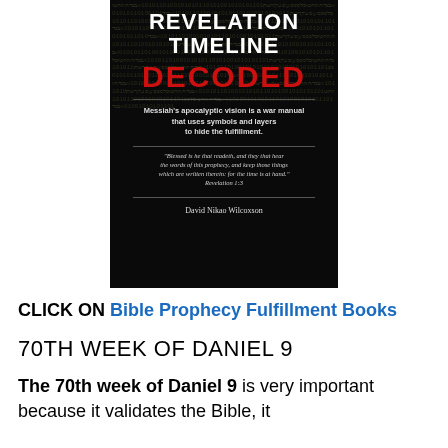[Figure (illustration): Book cover of 'Revelation Timeline Decoded' by David Nikao Wilcoxson. Dark background with ancient text/code. Title in white, 'DECODED' in red. Subtitle: 'Messiah's apocalyptic vision is a war manual that uses symbols and layers to hide the fulfillment.' Quote from Revelation 1:3.]
CLICK ON Bible Prophecy Fulfillment Books
70TH WEEK OF DANIEL 9
The 70th week of Daniel 9 is very important because it validates the Bible, it